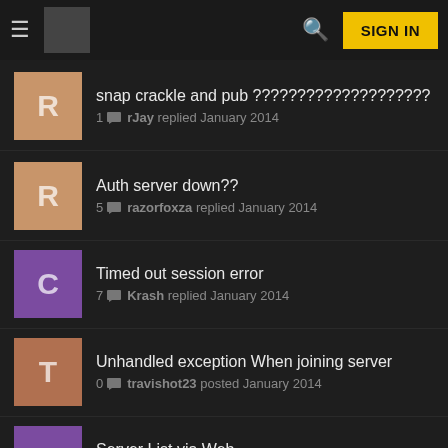SIGN IN
snap crackle and pub ???????????????????? — 1 rJay replied January 2014
Auth server down?? — 5 razorfoxza replied January 2014
Timed out session error — 7 Krash replied January 2014
Unhandled exception When joining server — 0 travishot23 posted January 2014
Server List via Web — 38 heat replied December 2013
TeamViewer